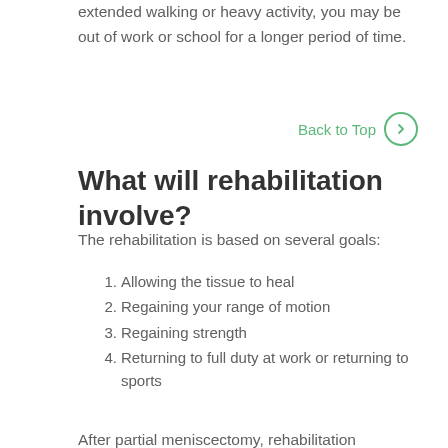extended walking or heavy activity, you may be out of work or school for a longer period of time.
Back to Top →
What will rehabilitation involve?
The rehabilitation is based on several goals:
1. Allowing the tissue to heal
2. Regaining your range of motion
3. Regaining strength
4. Returning to full duty at work or returning to sports
After partial meniscectomy, rehabilitation